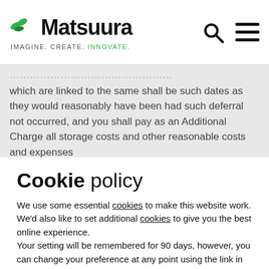Matsuura — IMAGINE. CREATE. INNOVATE.
which are linked to the same shall be such dates as they would reasonably have been had such deferral not occurred, and you shall pay as an Additional Charge all storage costs and other reasonable costs and expenses
Cookie policy
We use some essential cookies to make this website work. We'd also like to set additional cookies to give you the best online experience.
Your setting will be remembered for 90 days, however, you can change your preference at any point using the link in the website footer.
Manage Additional Cookies
Accept All Cookies